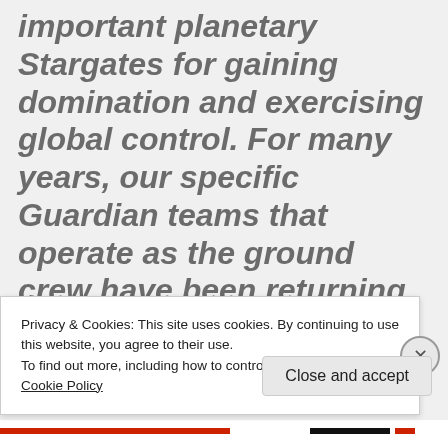important planetary Stargates for gaining domination and exercising global control. For many years, our specific Guardian teams that operate as the ground crew have been returning to the Aurora Platforms between the Milky Way and Andromeda to build the krystal architecture repairs for correcting the Emerald M...
Privacy & Cookies: This site uses cookies. By continuing to use this website, you agree to their use.
To find out more, including how to control cookies, see here: Cookie Policy